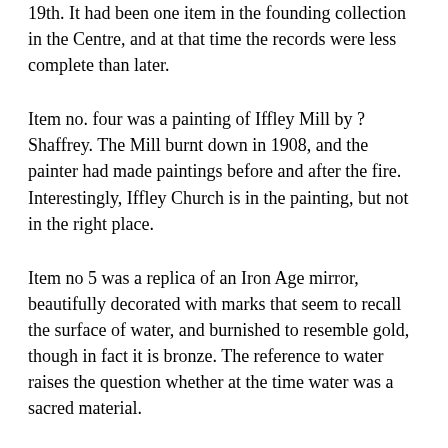19th. It had been one item in the founding collection in the Centre, and at that time the records were less complete than later.
Item no. four was a painting of Iffley Mill by ? Shaffrey. The Mill burnt down in 1908, and the painter had made paintings before and after the fire. Interestingly, Iffley Church is in the painting, but not in the right place.
Item no 5 was a replica of an Iron Age mirror, beautifully decorated with marks that seem to recall the surface of water, and burnished to resemble gold, though in fact it is bronze. The reference to water raises the question whether at the time water was a sacred material.
After this, the group was taken round the Social History